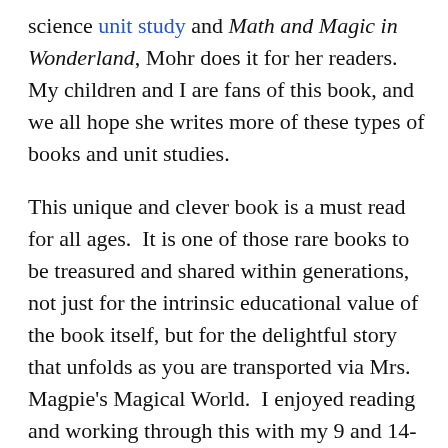science unit study and Math and Magic in Wonderland, Mohr does it for her readers. My children and I are fans of this book, and we all hope she writes more of these types of books and unit studies.
This unique and clever book is a must read for all ages. It is one of those rare books to be treasured and shared within generations, not just for the intrinsic educational value of the book itself, but for the delightful story that unfolds as you are transported via Mrs. Magpie's Magical World. I enjoyed reading and working through this with my 9 and 14-year-old children.